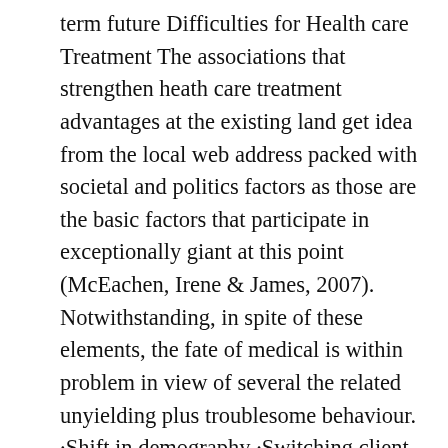term future Difficulties for Health care Treatment The associations that strengthen heath care treatment advantages at the existing land get idea from the local web address packed with societal and politics factors as those are the basic factors that participate in exceptionally giant at this point (McEachen, Irene & James, 2007). Notwithstanding, in spite of these elements, the fate of medical is within problem in view of several the related unyielding plus troublesome behaviour. ·Shift in demography ·Switching client wants and needs ·Surge in the expenses as examined with a internationally point of view ·Technological achievement Since it is so difficult to create matters use in the thing, as